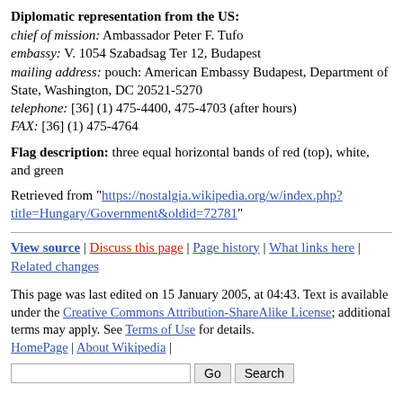Diplomatic representation from the US:
chief of mission: Ambassador Peter F. Tufo
embassy: V. 1054 Szabadsag Ter 12, Budapest
mailing address: pouch: American Embassy Budapest, Department of State, Washington, DC 20521-5270
telephone: [36] (1) 475-4400, 475-4703 (after hours)
FAX: [36] (1) 475-4764
Flag description: three equal horizontal bands of red (top), white, and green
Retrieved from "https://nostalgia.wikipedia.org/w/index.php?title=Hungary/Government&oldid=72781"
View source | Discuss this page | Page history | What links here | Related changes
This page was last edited on 15 January 2005, at 04:43. Text is available under the Creative Commons Attribution-ShareAlike License; additional terms may apply. See Terms of Use for details. HomePage | About Wikipedia |